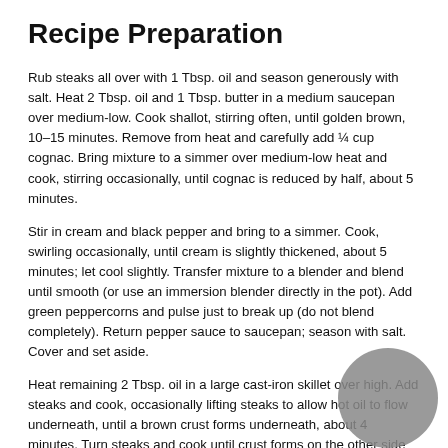Recipe Preparation
Rub steaks all over with 1 Tbsp. oil and season generously with salt. Heat 2 Tbsp. oil and 1 Tbsp. butter in a medium saucepan over medium-low. Cook shallot, stirring often, until golden brown, 10–15 minutes. Remove from heat and carefully add ¼ cup cognac. Bring mixture to a simmer over medium-low heat and cook, stirring occasionally, until cognac is reduced by half, about 5 minutes.
Stir in cream and black pepper and bring to a simmer. Cook, swirling occasionally, until cream is slightly thickened, about 5 minutes; let cool slightly. Transfer mixture to a blender and blend until smooth (or use an immersion blender directly in the pot). Add green peppercorns and pulse just to break up (do not blend completely). Return pepper sauce to saucepan; season with salt. Cover and set aside.
Heat remaining 2 Tbsp. oil in a large cast-iron skillet over high. Add steaks and cook, occasionally lifting steaks to allow hot oil to flow underneath, until a brown crust forms underneath, about 4 minutes. Turn steaks and cook until crust forms on the other side and an instant-read thermometer inserted into the thickest part registers 125° for medium-rare, about 4 minutes. Transfer steaks to a cutting board and let rest 10 minutes. Reserve skillet. Pour off all but 2 Tbsp. fat from skillet and return to medium-high heat.